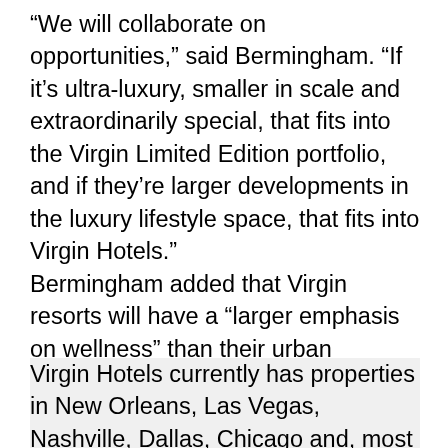“We will collaborate on opportunities,” said Bermingham. “If it’s ultra-luxury, smaller in scale and extraordinarily special, that fits into the Virgin Limited Edition portfolio, and if they’re larger developments in the luxury lifestyle space, that fits into Virgin Hotels.”
Bermingham added that Virgin resorts will have a “larger emphasis on wellness” than their urban properties.
Virgin Hotels currently has properties in New Orleans, Las Vegas, Nashville, Dallas, Chicago and, most recently, Edinburgh, Scotland, where Virgin Hotels had a soft opening for its first international location